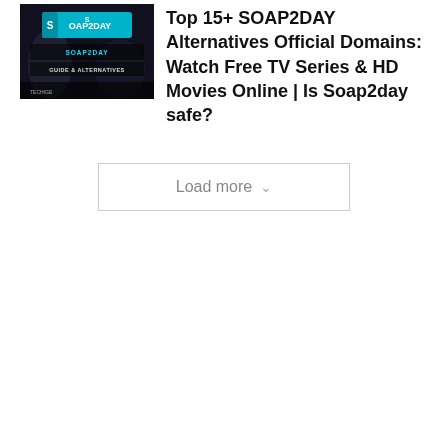[Figure (screenshot): Thumbnail image for article about SOAP2DAY alternatives, showing a dark cinematic background with the SOAP2DAY logo and text 'SOAP2DAY GUIDE & ALTERNATIVES']
Top 15+ SOAP2DAY Alternatives Official Domains: Watch Free TV Series & HD Movies Online | Is Soap2day safe?
Load more